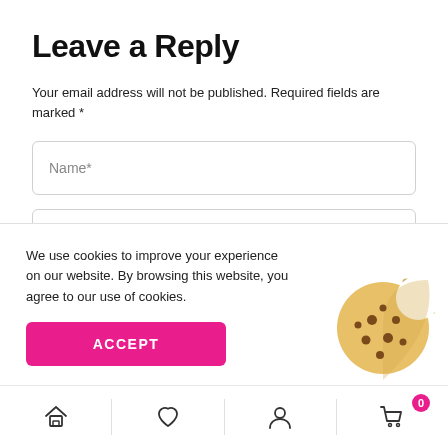Leave a Reply
Your email address will not be published. Required fields are marked *
Name*
Email*
We use cookies to improve your experience on our website. By browsing this website, you agree to our use of cookies.
ACCEPT
[Figure (illustration): Cookie illustration: a round cookie with a bite taken out of the upper right, with chocolate chip dots, in tan/golden color, with scattered crumbs to the upper right]
[Figure (infographic): Bottom navigation bar with four icons: house/home, heart/wishlist, person/account, shopping cart with badge showing 0]